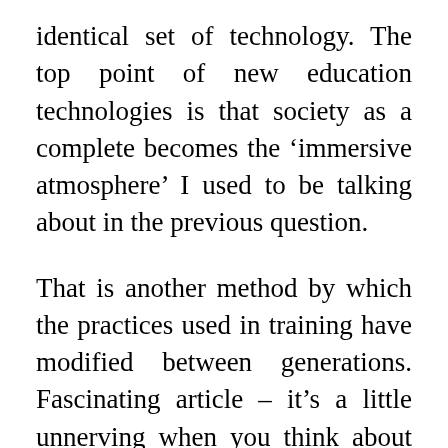identical set of technology. The top point of new education technologies is that society as a complete becomes the ‘immersive atmosphere’ I used to be talking about in the previous question.
That is another method by which the practices used in training have modified between generations. Fascinating article – it’s a little unnerving when you think about how deeply we’ve built-in technology into our day by day lives. The event of launch vehicles which has each civil and military functions concerned critical and intently guarded technology subject to restrictions. The question of accountable